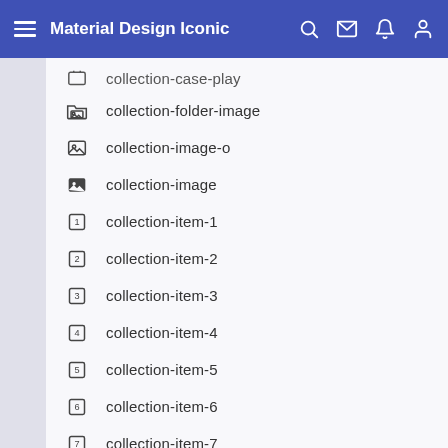Material Design Iconic
collection-case-play
collection-folder-image
collection-image-o
collection-image
collection-item-1
collection-item-2
collection-item-3
collection-item-4
collection-item-5
collection-item-6
collection-item-7